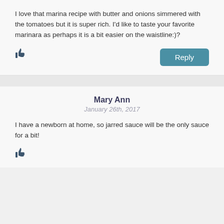I love that marina recipe with butter and onions simmered with the tomatoes but it is super rich. I'd like to taste your favorite marinara as perhaps it is a bit easier on the waistline:)?
[Figure (other): Thumbs up icon]
Reply
Mary Ann
January 26th, 2017
I have a newborn at home, so jarred sauce will be the only sauce for a bit!
[Figure (other): Thumbs up icon]